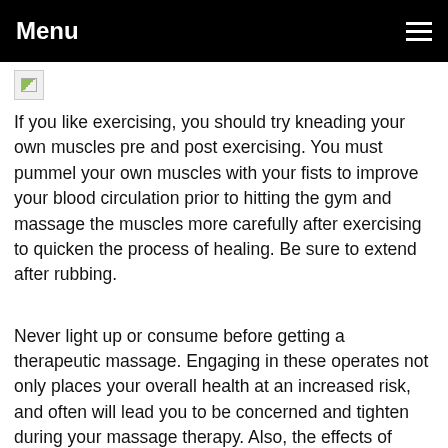Menu
[Figure (other): Broken/missing image placeholder (small icon with partial green triangle)]
If you like exercising, you should try kneading your own muscles pre and post exercising. You must pummel your own muscles with your fists to improve your blood circulation prior to hitting the gym and massage the muscles more carefully after exercising to quicken the process of healing. Be sure to extend after rubbing.
Never light up or consume before getting a therapeutic massage. Engaging in these operates not only places your overall health at an increased risk, and often will lead you to be concerned and tighten during your massage therapy. Also, the effects of those activities will lessen your feeling and level of